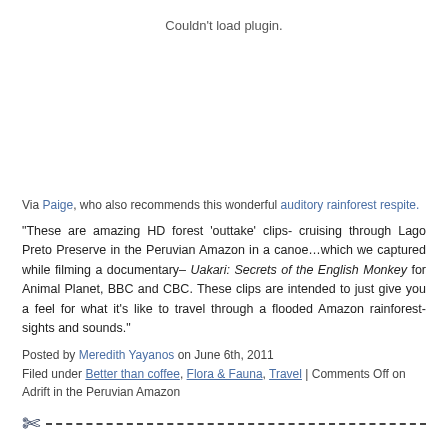[Figure (other): Plugin area showing 'Couldn't load plugin.' message]
Via Paige, who also recommends this wonderful auditory rainforest respite.
“These are amazing HD forest ‘outtake’ clips- cruising through Lago Preto Preserve in the Peruvian Amazon in a canoe…which we captured while filming a documentary– Uakari: Secrets of the English Monkey for Animal Planet, BBC and CBC. These clips are intended to just give you a feel for what it’s like to travel through a flooded Amazon rainforest- sights and sounds.”
Posted by Meredith Yayanos on June 6th, 2011
Filed under Better than coffee, Flora & Fauna, Travel | Comments Off on Adrift in the Peruvian Amazon
On the Bro’d